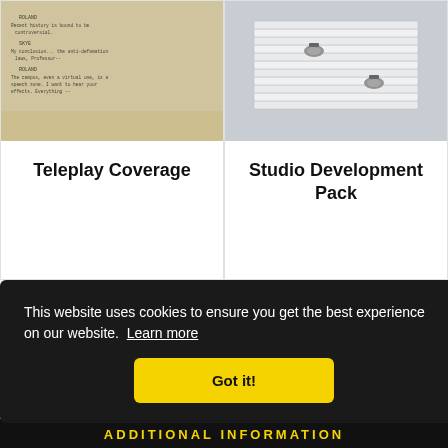[Figure (photo): Close-up of a screenplay/script page with typewriter text visible, warm beige/tan tones]
Teleplay Coverage
[Figure (photo): Stack of white papers/documents held together with binder clips, on light background]
Studio Development Pack
This website uses cookies to ensure you get the best experience on our website. Learn more
Got it!
| PS
ADDITIONAL INFORMATION